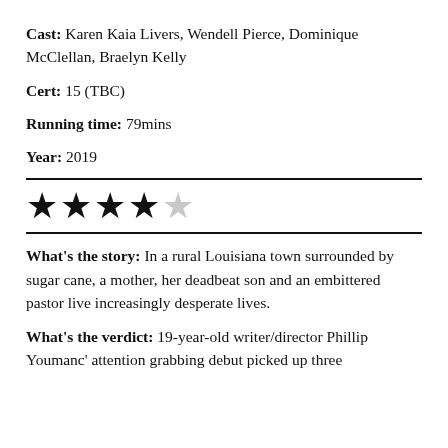Cast: Karen Kaia Livers, Wendell Pierce, Dominique McClellan, Braelyn Kelly
Cert: 15 (TBC)
Running time: 79mins
Year: 2019
[Figure (other): 4 out of 5 stars rating: four filled black stars and one empty/light star]
What's the story: In a rural Louisiana town surrounded by sugar cane, a mother, her deadbeat son and an embittered pastor live increasingly desperate lives.
What's the verdict: 19-year-old writer/director Phillip Youmanc' attention grabbing debut picked up three